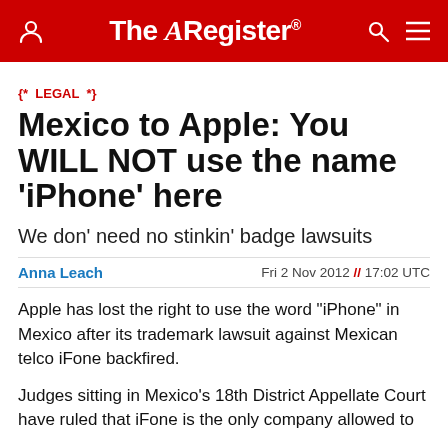The Register
{* LEGAL *}
Mexico to Apple: You WILL NOT use the name 'iPhone' here
We don' need no stinkin' badge lawsuits
Anna Leach  Fri 2 Nov 2012 // 17:02 UTC
Apple has lost the right to use the word "iPhone" in Mexico after its trademark lawsuit against Mexican telco iFone backfired.
Judges sitting in Mexico's 18th District Appellate Court have ruled that iFone is the only company allowed to